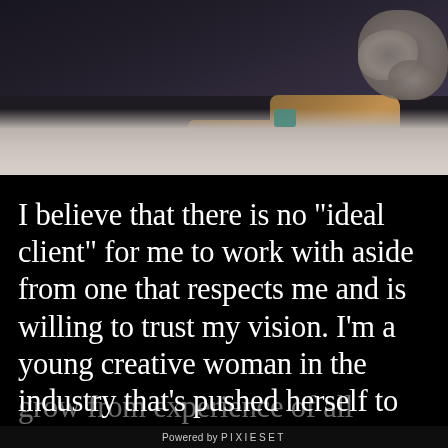[Figure (photo): A close-up photograph showing someone sitting on a light wood/tile floor wearing dark jeans and brown leather boots, with rocks or pebbles visible in the background to the right.]
I believe that there is no "ideal client" for me to work with aside from one that respects me and is willing to trust my vision. I'm a young creative woman in the industry that's pushed herself to grow from experience of all
Powered by PIXIESET